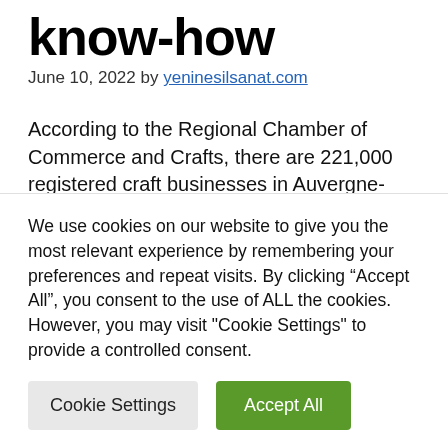know-how
June 10, 2022 by yeninesilsanat.com
According to the Regional Chamber of Commerce and Crafts, there are 221,000 registered craft businesses in Auvergne-Rhône-Alpes (37,200 in Isère – 43,700 in Rhône – 19,700 in Loire), an increase of 39% in five years (+ 45% in Isère), for a turnover
We use cookies on our website to give you the most relevant experience by remembering your preferences and repeat visits. By clicking “Accept All”, you consent to the use of ALL the cookies. However, you may visit "Cookie Settings" to provide a controlled consent.